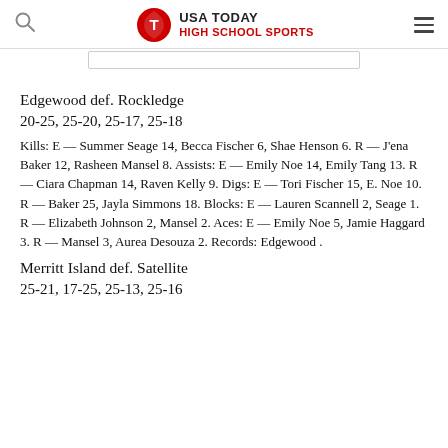USA TODAY HIGH SCHOOL SPORTS
Edgewood def. Rockledge
20-25, 25-20, 25-17, 25-18
Kills: E — Summer Seage 14, Becca Fischer 6, Shae Henson 6. R — J'ena Baker 12, Rasheen Mansel 8. Assists: E — Emily Noe 14, Emily Tang 13. R — Ciara Chapman 14, Raven Kelly 9. Digs: E — Tori Fischer 15, E. Noe 10. R — Baker 25, Jayla Simmons 18. Blocks: E — Lauren Scannell 2, Seage 1. R — Elizabeth Johnson 2, Mansel 2. Aces: E — Emily Noe 5, Jamie Haggard 3. R — Mansel 3, Aurea Desouza 2. Records: Edgewood .
Merritt Island def. Satellite
25-21, 17-25, 25-13, 25-16